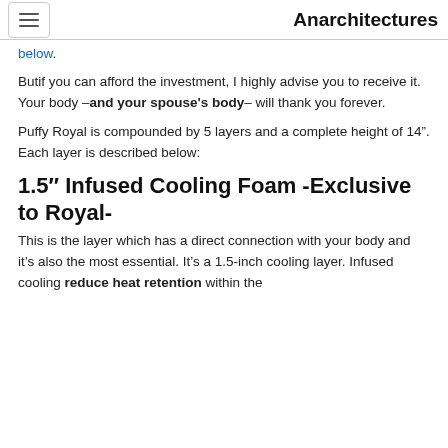Anarchitectures
below.
Butif you can afford the investment, I highly advise you to receive it. Your body –and your spouse's body– will thank you forever.
Puffy Royal is compounded by 5 layers and a complete height of 14". Each layer is described below:
1.5″ Infused Cooling Foam -Exclusive to Royal-
This is the layer which has a direct connection with your body and it's also the most essential. It's a 1.5-inch cooling layer. Infused cooling reduce heat retention within the